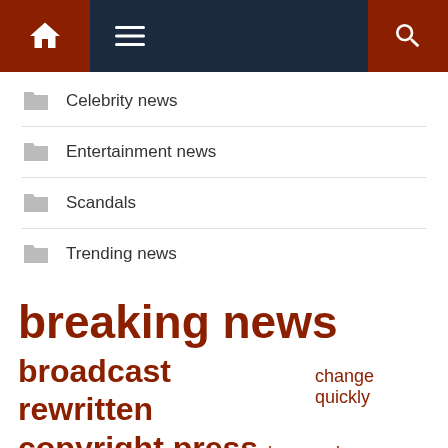[Figure (screenshot): Navigation bar with home icon (red background), hamburger menu icon, and search icon (red background) on dark navy background]
Celebrity news
Entertainment news
Scandals
Trending news
breaking news
broadcast rewritten  change quickly
copyright press  los angeles
material published
news breaking  press rights